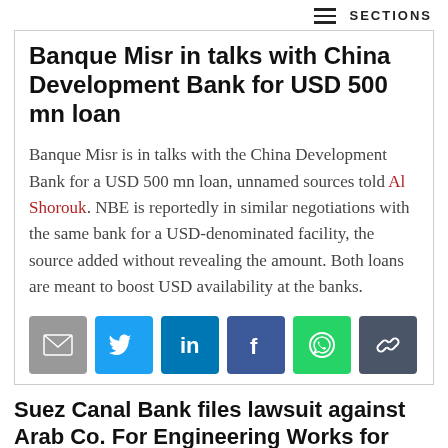≡ SECTIONS
Banque Misr in talks with China Development Bank for USD 500 mn loan
Banque Misr is in talks with the China Development Bank for a USD 500 mn loan, unnamed sources told Al Shorouk. NBE is reportedly in similar negotiations with the same bank for a USD-denominated facility, the source added without revealing the amount. Both loans are meant to boost USD availability at the banks.
[Figure (infographic): Row of 6 social sharing buttons: email (grey), Twitter (blue), LinkedIn (blue), Facebook (dark blue), WhatsApp (green), link/copy (dark grey)]
Suez Canal Bank files lawsuit against Arab Co. For Engineering Works for EGP